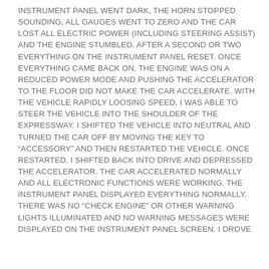INSTRUMENT PANEL WENT DARK, THE HORN STOPPED SOUNDING, ALL GAUGES WENT TO ZERO AND THE CAR LOST ALL ELECTRIC POWER (INCLUDING STEERING ASSIST) AND THE ENGINE STUMBLED. AFTER A SECOND OR TWO EVERYTHING ON THE INSTRUMENT PANEL RESET. ONCE EVERYTHING CAME BACK ON, THE ENGINE WAS ON A REDUCED POWER MODE AND PUSHING THE ACCELERATOR TO THE FLOOR DID NOT MAKE THE CAR ACCELERATE. WITH THE VEHICLE RAPIDLY LOOSING SPEED, I WAS ABLE TO STEER THE VEHICLE INTO THE SHOULDER OF THE EXPRESSWAY. I SHIFTED THE VEHICLE INTO NEUTRAL AND TURNED THE CAR OFF BY MOVING THE KEY TO “ACCESSORY” AND THEN RESTARTED THE VEHICLE. ONCE RESTARTED, I SHIFTED BACK INTO DRIVE AND DEPRESSED THE ACCELERATOR. THE CAR ACCELERATED NORMALLY AND ALL ELECTRONIC FUNCTIONS WERE WORKING. THE INSTRUMENT PANEL DISPLAYED EVERYTHING NORMALLY. THERE WAS NO “CHECK ENGINE” OR OTHER WARNING LIGHTS ILLUMINATED AND NO WARNING MESSAGES WERE DISPLAYED ON THE INSTRUMENT PANEL SCREEN. I DROVE